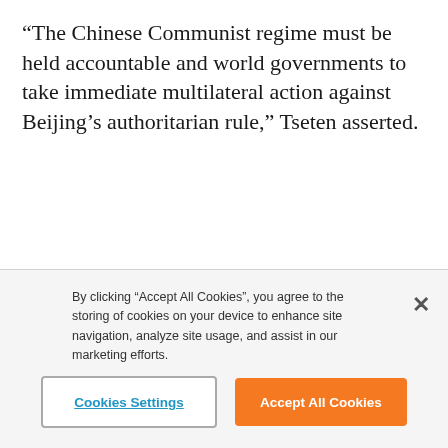“The Chinese Communist regime must be held accountable and world governments to take immediate multilateral action against Beijing’s authoritarian rule,” Tseten asserted.
By clicking “Accept All Cookies”, you agree to the storing of cookies on your device to enhance site navigation, analyze site usage, and assist in our marketing efforts.
Cookies Settings
Accept All Cookies